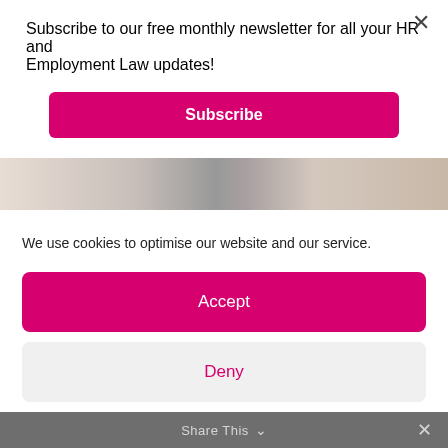Subscribe to our free monthly newsletter for all your HR and Employment Law updates!
Subscribe
[Figure (photo): Partial image of a person, likely showing hands or upper body, in muted tones]
We use cookies to optimise our website and our service.
Accept
Deny
Preferences
Share This  ✕